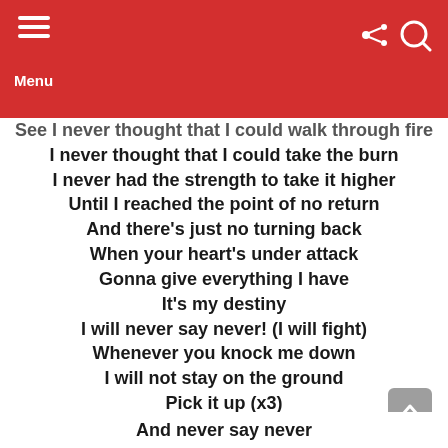Menu
See I never thought that I could walk through fire
I never thought that I could take the burn
I never had the strength to take it higher
Until I reached the point of no return
And there's just no turning back
When your heart's under attack
Gonna give everything I have
It's my destiny
I will never say never! (I will fight)
Whenever you knock me down
I will not stay on the ground
Pick it up (x3)

And never say never